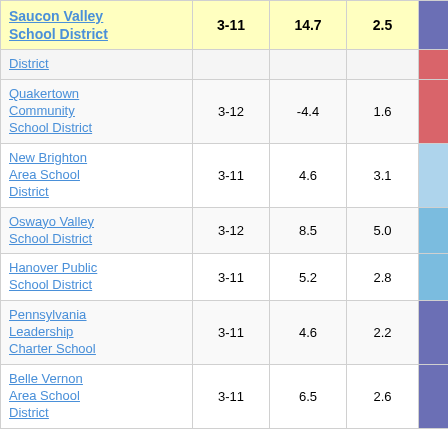| School District | Grades | Col1 | Col2 | Score |  |
| --- | --- | --- | --- | --- | --- |
| Saucon Valley School District | 3-11 | 14.7 | 2.5 | 5.98 |  |
| District |  |  |  |  |  |
| Quakertown Community School District | 3-12 | -4.4 | 1.6 | -2.70 |  |
| New Brighton Area School District | 3-11 | 4.6 | 3.1 | 1.47 |  |
| Oswayo Valley School District | 3-12 | 8.5 | 5.0 | 1.68 |  |
| Hanover Public School District | 3-11 | 5.2 | 2.8 | 1.83 |  |
| Pennsylvania Leadership Charter School | 3-11 | 4.6 | 2.2 | 2.13 |  |
| Belle Vernon Area School District | 3-11 | 6.5 | 2.6 | 2.44 |  |